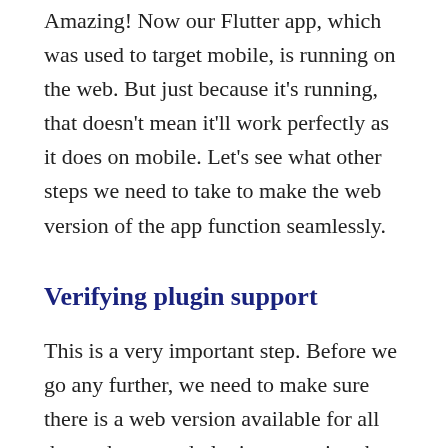Amazing! Now our Flutter app, which was used to target mobile, is running on the web. But just because it's running, that doesn't mean it'll work perfectly as it does on mobile. Let's see what other steps we need to take to make the web version of the app function seamlessly.
Verifying plugin support
This is a very important step. Before we go any further, we need to make sure there is a web version available for all the packages and plugins powering the mobile app.
To check whether a web version of a given package